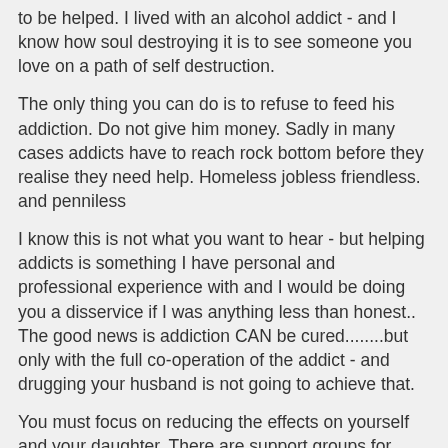to be helped. I lived with an alcohol addict - and I know how soul destroying it is to see someone you love on a path of self destruction.
The only thing you can do is to refuse to feed his addiction. Do not give him money. Sadly in many cases addicts have to reach rock bottom before they realise they need help. Homeless jobless friendless. and penniless
I know this is not what you want to hear - but helping addicts is something I have personal and professional experience with and I would be doing you a disservice if I was anything less than honest.. The good news is addiction CAN be cured........but only with the full co-operation of the addict - and drugging your husband is not going to achieve that.
You must focus on reducing the effects on yourself and your daughter. There are support groups for families of addicts - and I am sure there will be a support group for families of gambling addicts.
Feel free to pm me if you want to talk